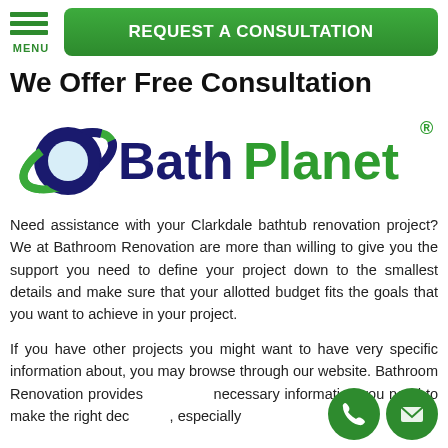MENU | REQUEST A CONSULTATION
We Offer Free Consultation
[Figure (logo): BathPlanet logo with green and dark blue planet/orbit icon and text 'BathPlanet' with registered trademark symbol]
Need assistance with your Clarkdale bathtub renovation project? We at Bathroom Renovation are more than willing to give you the support you need to define your project down to the smallest details and make sure that your allotted budget fits the goals that you want to achieve in your project.
If you have other projects you might want to have very specific information about, you may browse through our website. Bathroom Renovation provides necessary information you need to make the right decision, especially